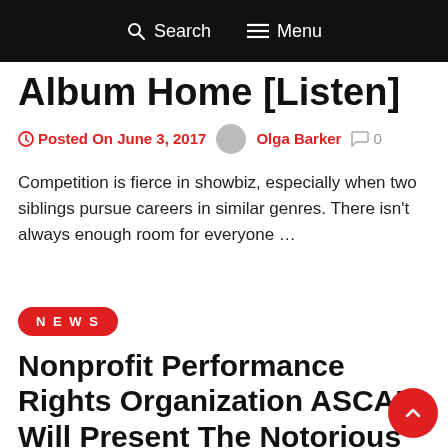Search  Menu
Album Home [Listen]
Posted On June 3, 2017  Olga Barker  0
Competition is fierce in showbiz, especially when two siblings pursue careers in similar genres. There isn't always enough room for everyone …
NEWS
Nonprofit Performance Rights Organization ASCAP Will Present The Notorious B.I.G With Founders Award This Month